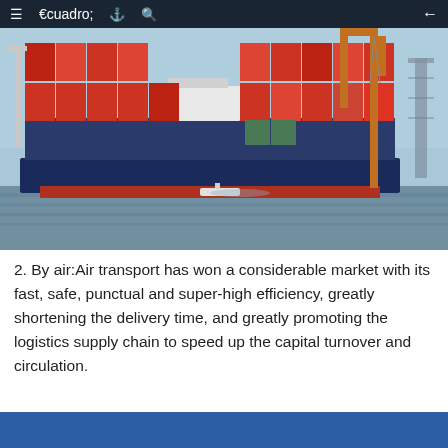Navigation bar with menu, book, search icons and back arrow
[Figure (photo): A large container ship loaded with red and orange shipping containers docked at a port, with orange cranes in the background and calm water in the foreground.]
2. By air:Air transport has won a considerable market with its fast, safe, punctual and super-high efficiency, greatly shortening the delivery time, and greatly promoting the logistics supply chain to speed up the capital turnover and circulation.
[Figure (photo): Bottom blue strip, partial image of another section with blue background.]